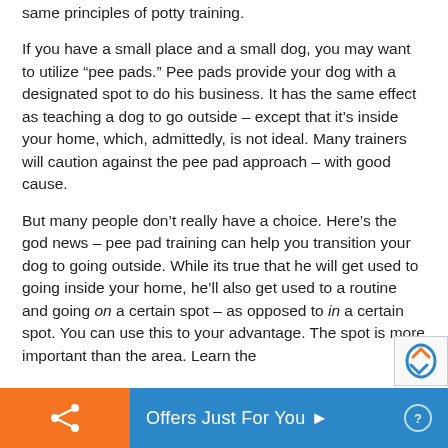same principles of potty training.
If you have a small place and a small dog, you may want to utilize “pee pads.” Pee pads provide your dog with a designated spot to do his business. It has the same effect as teaching a dog to go outside – except that it’s inside your home, which, admittedly, is not ideal. Many trainers will caution against the pee pad approach – with good cause.
But many people don’t really have a choice. Here’s the god news – pee pad training can help you transition your dog to going outside. While its true that he will get used to going inside your home, he’ll also get used to a routine and going on a certain spot – as opposed to in a certain spot. You can use this to your advantage. The spot is more important than the area. Learn the
Offers Just For You